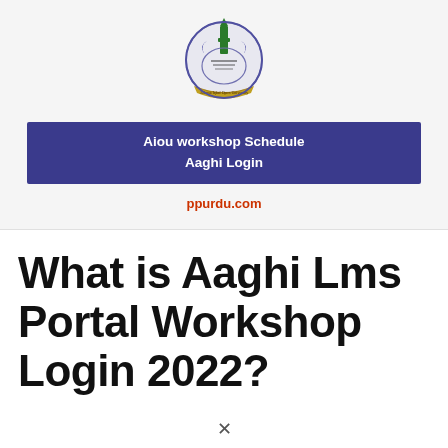[Figure (logo): AIOU university crest/emblem with green minaret, crescent, Arabic text, and ribbon banner at bottom]
Aiou workshop Schedule
Aaghi Login
ppurdu.com
What is Aaghi Lms Portal Workshop Login 2022?